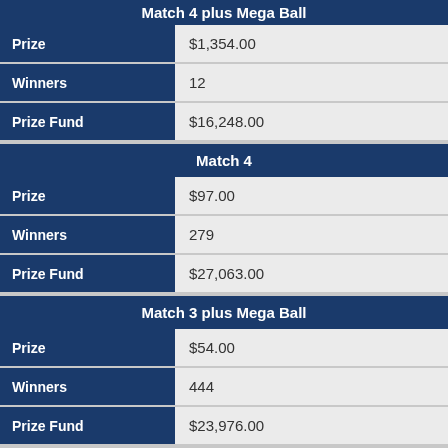Match 4 plus Mega Ball
| Field | Value |
| --- | --- |
| Prize | $1,354.00 |
| Winners | 12 |
| Prize Fund | $16,248.00 |
Match 4
| Field | Value |
| --- | --- |
| Prize | $97.00 |
| Winners | 279 |
| Prize Fund | $27,063.00 |
Match 3 plus Mega Ball
| Field | Value |
| --- | --- |
| Prize | $54.00 |
| Winners | 444 |
| Prize Fund | $23,976.00 |
Match 3
| Field | Value |
| --- | --- |
| Prize | $10.00 |
| Winners | 11,699 |